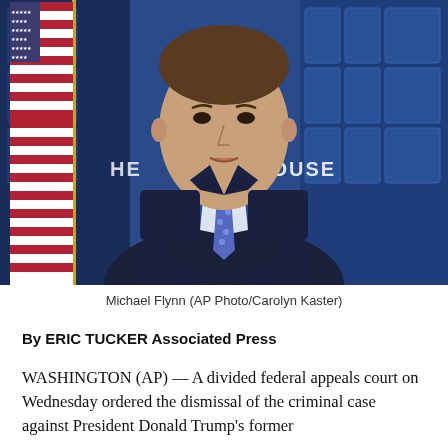[Figure (photo): Michael Flynn speaking at a White House press briefing room podium, wearing a dark suit and blue polka-dot tie, with an American flag on the left and the White House backdrop behind him.]
Michael Flynn (AP Photo/Carolyn Kaster)
By ERIC TUCKER Associated Press
WASHINGTON (AP) — A divided federal appeals court on Wednesday ordered the dismissal of the criminal case against President Donald Trump's former